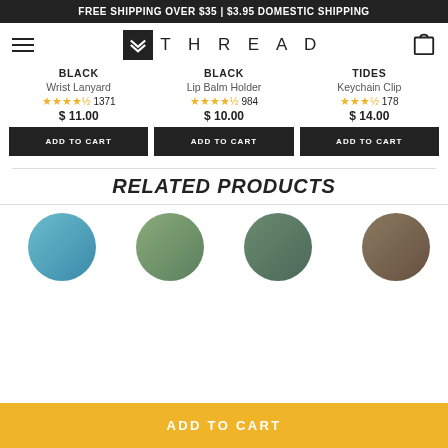FREE SHIPPING OVER $35 | $3.95 DOMESTIC SHIPPING
THREAD
BLACK
Wrist Lanyard
★★★★½ 1371
$ 11.00
BLACK
Lip Balm Holder
★★★★½ 984
$ 10.00
TIDES
Keychain Clip
★★★½ 178
$ 14.00
ADD TO CART
ADD TO CART
ADD TO CART
RELATED PRODUCTS
[Figure (photo): Four circular product images partially visible]
ADD TO CART